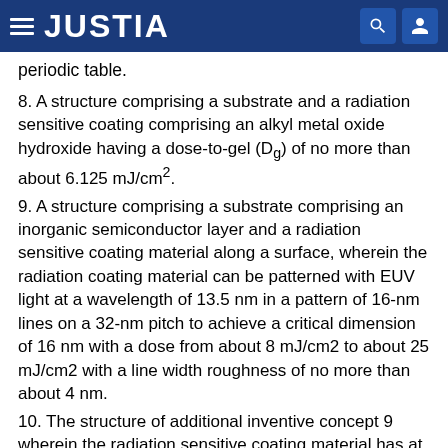JUSTIA
periodic table.
8. A structure comprising a substrate and a radiation sensitive coating comprising an alkyl metal oxide hydroxide having a dose-to-gel (Dg) of no more than about 6.125 mJ/cm2.
9. A structure comprising a substrate comprising an inorganic semiconductor layer and a radiation sensitive coating material along a surface, wherein the radiation coating material can be patterned with EUV light at a wavelength of 13.5 nm in a pattern of 16-nm lines on a 32-nm pitch to achieve a critical dimension of 16 nm with a dose from about 8 mJ/cm2 to about 25 mJ/cm2 with a line width roughness of no more than about 4 nm.
10. The structure of additional inventive concept 9 wherein the radiation sensitive coating material has at least 5 weight percent of metal.
11. The structure of additional inventive concept 9